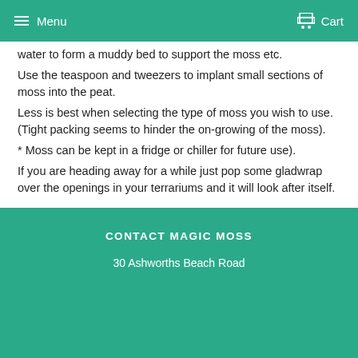Menu  Cart
water to form a muddy bed to support the moss etc.
Use the teaspoon and tweezers to implant small sections of moss into the peat.
Less is best when selecting the type of moss you wish to use. (Tight packing seems to hinder the on-growing of the moss).
* Moss can be kept in a fridge or chiller for future use).
If you are heading away for a while just pop some gladwrap over the openings in your terrariums and it will look after itself.
Share  Tweet  Pin it
CONTACT MAGIC MOSS
30 Ashworths Beach Road